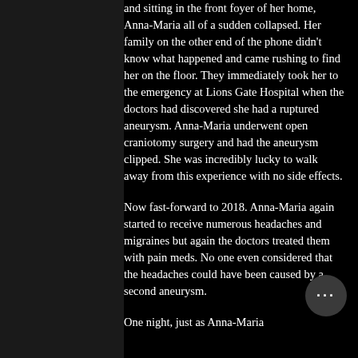and sitting in the front foyer of her home, Anna-Maria all of a sudden collapsed. Her family on the other end of the phone didn't know what happened and came rushing to find her on the floor. They immediately took her to the emergency at Lions Gate Hospital when the doctors had discovered she had a ruptured aneurysm. Anna-Maria underwent open craniotomy surgery and had the aneurysm clipped. She was incredibly lucky to walk away from this experience with no side effects.
Now fast-forward to 2018. Anna-Maria again started to receive numerous headaches and migraines but again the doctors treated them with pain meds. No one even considered that the headaches could have been caused by a second aneurysm.
One night, just as Anna-Maria